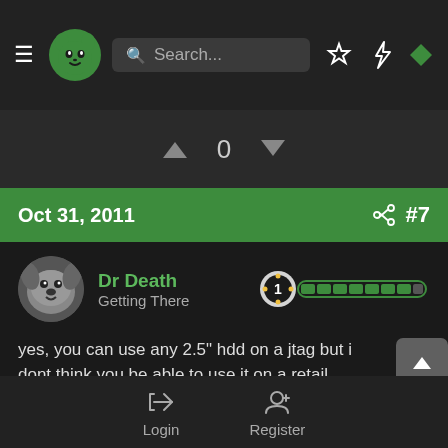[Figure (screenshot): Dark-themed forum app navigation bar with hamburger menu, green cat logo, search bar, star icon, lightning icon, and green diamond icon]
0
Oct 31, 2011  #7
Dr Death
Getting There
yes, you can use any 2.5" hdd on a jtag but i dont think you be able to use it on a retail
... ▾   Reply
Login   Register